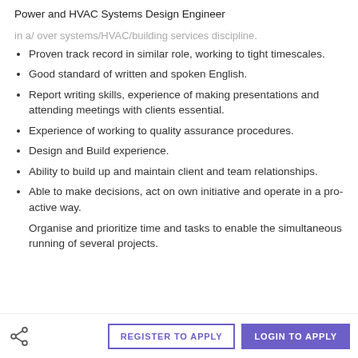Power and HVAC Systems Design Engineer
in a/ over systems/HVAC/building services discipline.
Proven track record in similar role, working to tight timescales.
Good standard of written and spoken English.
Report writing skills, experience of making presentations and attending meetings with clients essential.
Experience of working to quality assurance procedures.
Design and Build experience.
Ability to build up and maintain client and team relationships.
Able to make decisions, act on own initiative and operate in a pro-active way.
Organise and prioritize time and tasks to enable the simultaneous running of several projects.